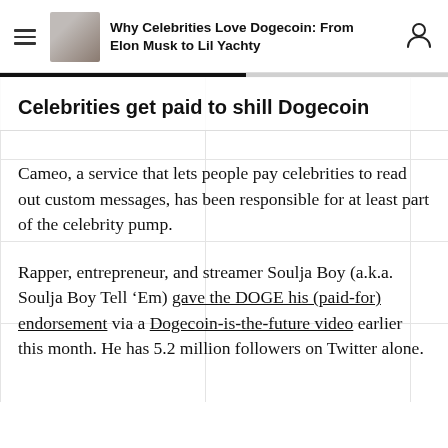Why Celebrities Love Dogecoin: From Elon Musk to Lil Yachty
Celebrities get paid to shill Dogecoin
Cameo, a service that lets people pay celebrities to read out custom messages, has been responsible for at least part of the celebrity pump.
Rapper, entrepreneur, and streamer Soulja Boy (a.k.a. Soulja Boy Tell ‘Em) gave the DOGE his (paid-for) endorsement via a Dogecoin-is-the-future video earlier this month. He has 5.2 million followers on Twitter alone.